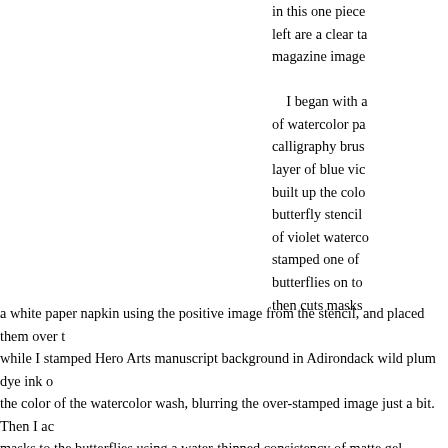in this one piece left are a clear ta magazine image I began with a of watercolor pa calligraphy brus layer of blue vic built up the col butterfly stencil of violet waterco stamped one of butterflies on to then cuts masks a white paper napkin using the positive image from the stencil, and placed them over t while I stamped Hero Arts manuscript background in Adirondack wild plum dye ink o the color of the watercolor wash, blurring the over-stamped image just a bit.  Then I ac masks to the butterflies using a water-thinned consistency of matte gel medium, both c this dried, I adhered the transferred image to the left side of the watercolor paper, trim mounted the piece onto plum and black cardstock.